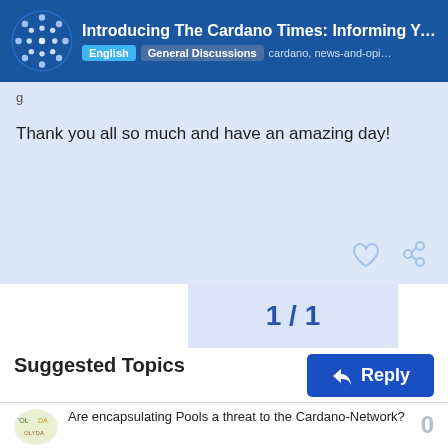Introducing The Cardano Times: Informing You … | English | General Discussions | cardano, news-and-opi…
Thank you all so much and have an amazing day!
1 / 1
Reply
Suggested Topics
Are encapsulating Pools a threat to the Cardano-Network?
General Discussions
15d
0
Cardano survives Nomad bridge hack
General Discussions
7d
1
Cardano Vancouver Canada
0